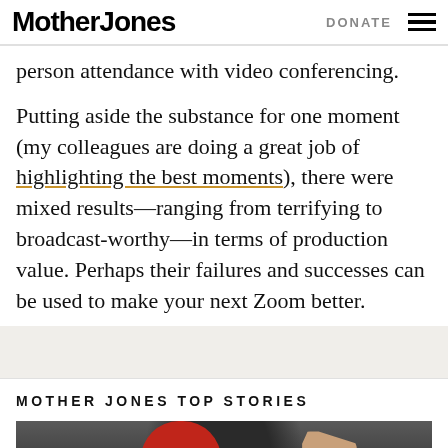Mother Jones | DONATE
person attendance with video conferencing.
Putting aside the substance for one moment (my colleagues are doing a great job of highlighting the best moments), there were mixed results—ranging from terrifying to broadcast-worthy—in terms of production value. Perhaps their failures and successes can be used to make your next Zoom better.
MOTHER JONES TOP STORIES
[Figure (photo): Photo of a person wearing a red cap with hand raised, dark background]